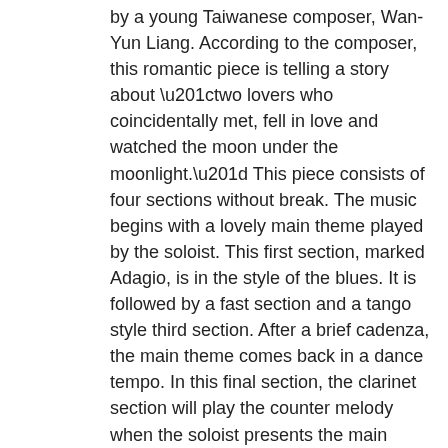by a young Taiwanese composer, Wan-Yun Liang. According to the composer, this romantic piece is telling a story about “two lovers who coincidentally met, fell in love and watched the moon under the moonlight.” This piece consists of four sections without break. The music begins with a lovely main theme played by the soloist. This first section, marked Adagio, is in the style of the blues. It is followed by a fast section and a tango style third section. After a brief cadenza, the main theme comes back in a dance tempo. In this final section, the clarinet section will play the counter melody when the soloist presents the main melody. After that, trumpets and saxophones players will play the main tune while the counter melody will be played by the soloist. This represents the two lovers dancing happily under the moon.
This piece was premiered by the Euphonium player, Tzu-Hsiang Lin, and